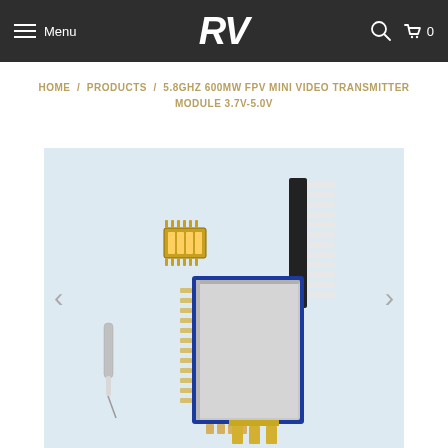Menu | RV | [search] [cart] 0
HOME / PRODUCTS / 5.8GHZ 600MW FPV MINI VIDEO TRANSMITTER MODULE 3.7V-5.0V
[Figure (photo): Product photo of a 5.8GHz 600mW FPV mini video transmitter module showing the circuit board with metal shield, DIP switch component, pin header connector strip, antenna, and gold connector, arranged on a light blue background. Navigation arrows on left and right sides.]